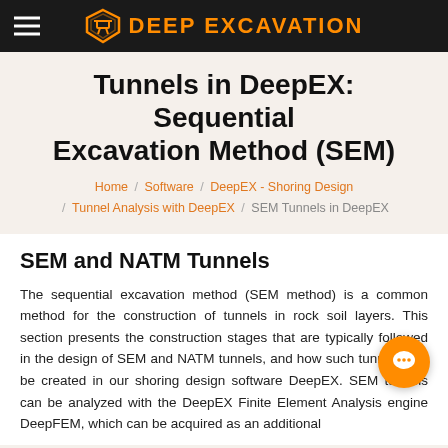DEEP EXCAVATION
Tunnels in DeepEX: Sequential Excavation Method (SEM)
Home / Software / DeepEX - Shoring Design / Tunnel Analysis with DeepEX / SEM Tunnels in DeepEX
SEM and NATM Tunnels
The sequential excavation method (SEM method) is a common method for the construction of tunnels in rock soil layers. This section presents the construction stages that are typically followed in the design of SEM and NATM tunnels, and how such tunnels can be created in our shoring design software DeepEX. SEM tunnels can be analyzed with the DeepEX Finite Element Analysis engine DeepFEM, which can be acquired as an additional